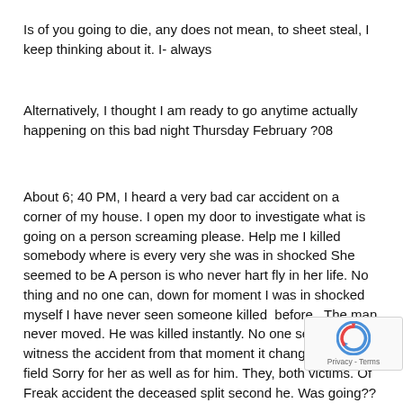Is of you going to die, any does not mean, to sheet steal, I keep thinking about it. I- always
Alternatively, I thought I am ready to go anytime actually happening on this bad night Thursday February ?08
About 6; 40 PM, I heard a very bad car accident on a corner of my house. I open my door to investigate what is going on a person screaming please. Help me I killed somebody where is every very she was in shocked She seemed to be A person is who never hart fly in her life. No thing and no one can, down for moment I was in shocked myself I have never seen someone killed  before . The man never moved. He was killed instantly. No one seemed. To witness the accident from that moment it changed my life. I field Sorry for her as well as for him. They, both victims. Of Freak accident the deceased split second he. Was going?? Driver is life will never be Although the police arrive in very quick follow it by the fire